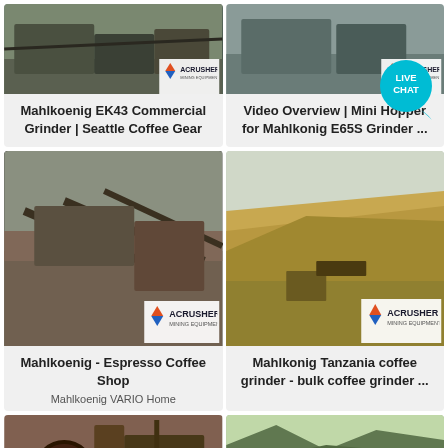[Figure (photo): Mining/industrial equipment photo with ACRUSHER Mining Equipment logo badge - top left card]
Mahlkoenig EK43 Commercial Grinder | Seattle Coffee Gear
[Figure (photo): Mining/industrial equipment photo with ACRUSHER Mining Equipment logo badge - top right card]
Video Overview | Mini Hopper for Mahlkonig E65S Grinder ...
[Figure (photo): Large industrial mining conveyor/crusher equipment photo with ACRUSHER logo - middle left card]
Mahlkoenig - Espresso Coffee Shop
Mahlkoenig VARIO Home
[Figure (photo): Open-pit mining quarry with machinery, ACRUSHER Mining Equipment logo - middle right card]
Mahlkonig Tanzania coffee grinder - bulk coffee grinder ...
[Figure (photo): Industrial equipment/machinery photo - bottom left card (partial)]
[Figure (photo): Mining/quarry landscape photo - bottom right card (partial)]